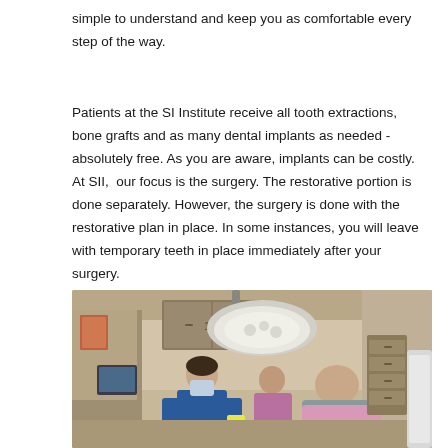simple to understand and keep you as comfortable every step of the way.
Patients at the SI Institute receive all tooth extractions, bone grafts and as many dental implants as needed - absolutely free. As you are aware, implants can be costly. At SII, our focus is the surgery. The restorative portion is done separately. However, the surgery is done with the restorative plan in place. In some instances, you will leave with temporary teeth in place immediately after your surgery.
[Figure (photo): A dental office scene showing two dental professionals in blue and pink scrubs working on a seated patient. The room has dental equipment, cabinets, and a surgical light overhead. The setting appears to be a dental implant surgery in progress.]